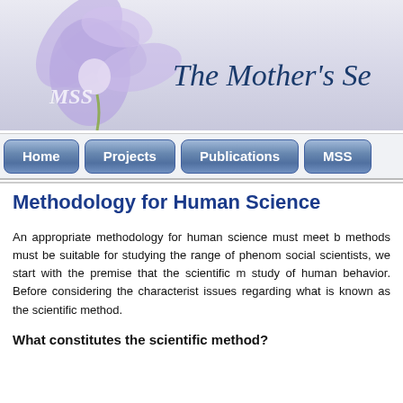[Figure (illustration): Website header banner with a purple/lavender flower illustration on the left and italic serif text 'The Mother's Se...' on the right against a light gray-blue gradient background. 'MSS' watermark text appears over the flower.]
Home | Projects | Publications | MSS
Methodology for Human Science
An appropriate methodology for human science must meet basic requirements: its methods must be suitable for studying the range of phenomena of interest to social scientists, we start with the premise that the scientific method is applicable to the study of human behavior. Before considering the characteristics, we briefly address issues regarding what is known as the scientific method.
What constitutes the scientific method?